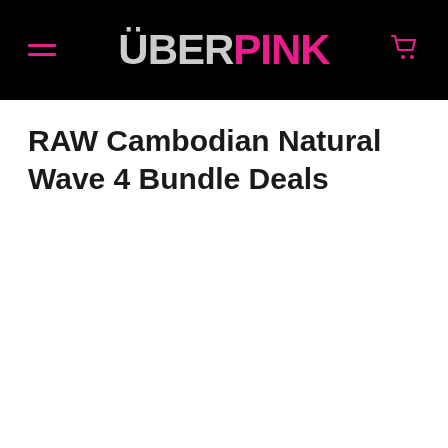ÜBERPINK
RAW Cambodian Natural Wave 4 Bundle Deals